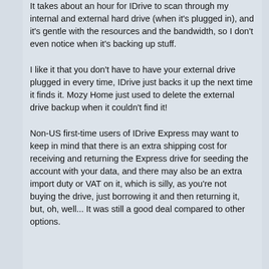It takes about an hour for IDrive to scan through my internal and external hard drive (when it's plugged in), and it's gentle with the resources and the bandwidth, so I don't even notice when it's backing up stuff.
I like it that you don't have to have your external drive plugged in every time, IDrive just backs it up the next time it finds it. Mozy Home just used to delete the external drive backup when it couldn't find it!
Non-US first-time users of IDrive Express may want to keep in mind that there is an extra shipping cost for receiving and returning the Express drive for seeding the account with your data, and there may also be an extra import duty or VAT on it, which is silly, as you're not buying the drive, just borrowing it and then returning it, but, oh, well... It was still a good deal compared to other options.